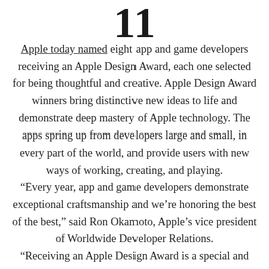11
Apple today named eight app and game developers receiving an Apple Design Award, each one selected for being thoughtful and creative. Apple Design Award winners bring distinctive new ideas to life and demonstrate deep mastery of Apple technology. The apps spring up from developers large and small, in every part of the world, and provide users with new ways of working, creating, and playing. “Every year, app and game developers demonstrate exceptional craftsmanship and we’re honoring the best of the best,” said Ron Okamoto, Apple’s vice president of Worldwide Developer Relations. “Receiving an Apple Design Award is a special and laudable accomplishment. Past honorees have